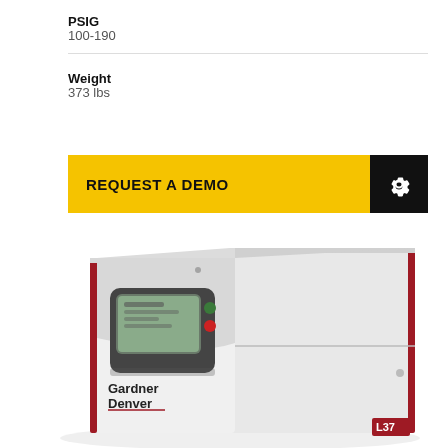PSIG
100-190
Weight
373 lbs
REQUEST A DEMO
[Figure (photo): Gardner Denver L37 industrial air compressor unit, white and red colored box-style compressor with a digital control panel display on the front left, Gardner Denver logo on the front, and L37 label on the lower right corner.]